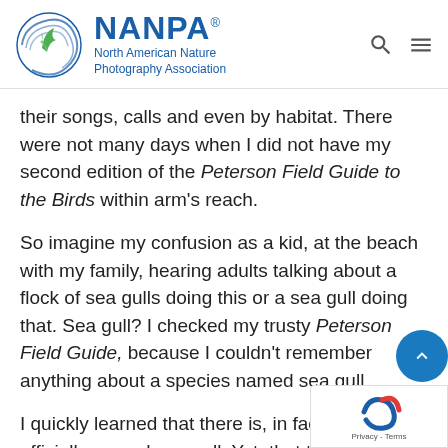NANPA - North American Nature Photography Association
their songs, calls and even by habitat. There were not many days when I did not have my second edition of the Peterson Field Guide to the Birds within arm's reach.
So imagine my confusion as a kid, at the beach with my family, hearing adults talking about a flock of sea gulls doing this or a sea gull doing that. Sea gull? I checked my trusty Peterson Field Guide, because I couldn't remember anything about a species named sea gull.
I quickly learned that there is, in fact, no bird officially named sea gull. Yet, that term persists to this day. If there are sea gulls, then...